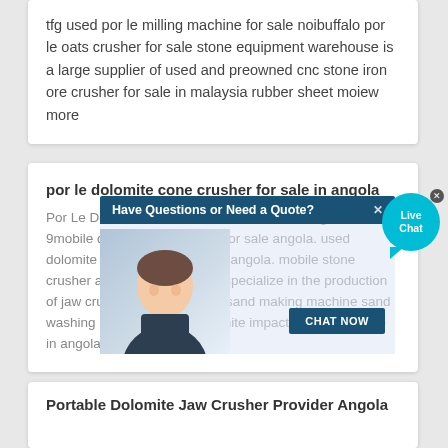tfg used por le milling machine for sale noibuffalo por le oats crusher for sale stone equipment warehouse is a large supplier of used and preowned cnc stone iron ore crusher for sale in malaysia rubber sheet moiew more
por le dolomite cone crusher for sale in angola
Por Le Dolomite Cone Crusher For Sale In Angola. 2020-3-9mobile dolomite jaw crusher for sale angola. used dolomite cone crusher for sale angola. mobile stone crusher and grinding mill. We specialize in the production of jaw crusher impact crusher sand making machine sand washing machine . used dolomite impact crusher for sale in angola.
[Figure (screenshot): Chat popup overlay with 'Have Questions or Need a Quote?' header bar in dark blue with close button, a woman customer service representative image, and a 'CHAT NOW' button. A 'Live Chat' speech bubble is shown in the top right corner of the popup.]
Portable Dolomite Jaw Crusher Provider Angola